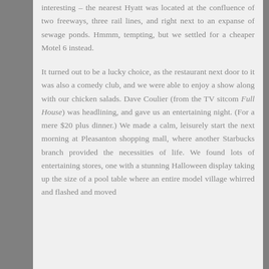interesting – the nearest Hyatt was located at the confluence of two freeways, three rail lines, and right next to an expanse of sewage ponds. Hmmm, tempting, but we settled for a cheaper Motel 6 instead.
It turned out to be a lucky choice, as the restaurant next door to it was also a comedy club, and we were able to enjoy a show along with our chicken salads. Dave Coulier (from the TV sitcom Full House) was headlining, and gave us an entertaining night. (For a mere $20 plus dinner.) We made a calm, leisurely start the next morning at Pleasanton shopping mall, where another Starbucks branch provided the necessities of life. We found lots of entertaining stores, one with a stunning Halloween display taking up the size of a pool table where an entire model village whirred and flashed and moved